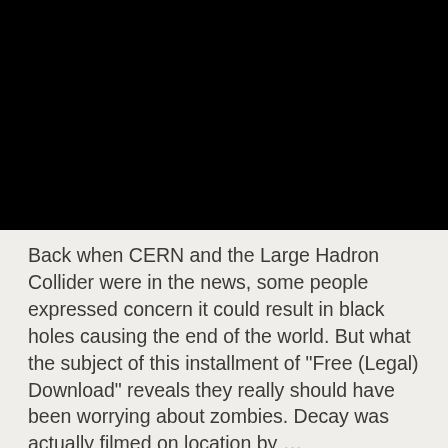[Figure (photo): Black banner/image area at the top of the page]
Back when CERN and the Large Hadron Collider were in the news, some people expressed concern it could result in black holes causing the end of the world. But what the subject of this installment of "Free (Legal) Download" reveals they really should have been worrying about zombies. Decay was actually filmed on location by …
Continue reading
Decay, Download, Free (Legal) Download, zombies
Leave comment